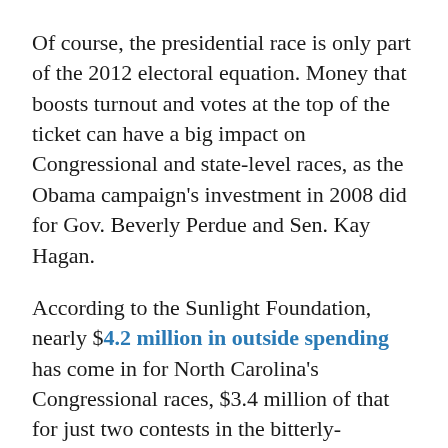Of course, the presidential race is only part of the 2012 electoral equation. Money that boosts turnout and votes at the top of the ticket can have a big impact on Congressional and state-level races, as the Obama campaign's investment in 2008 did for Gov. Beverly Perdue and Sen. Kay Hagan.
According to the Sunlight Foundation, nearly $4.2 million in outside spending has come in for North Carolina's Congressional races, $3.4 million of that for just two contests in the bitterly-contested NC-7 and NC-8 districts. That's on top of $3.7 million raised so far by the Democratic and Republican campaigns in those districts for 2012.